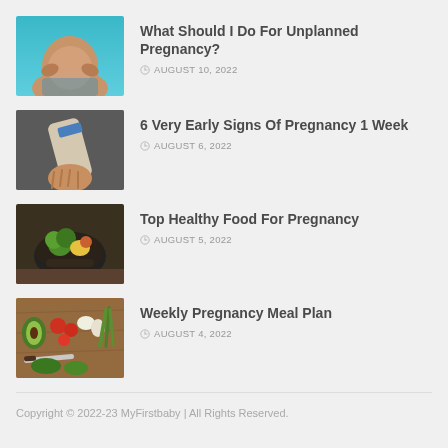[Figure (photo): Pregnant woman holding her belly outdoors, teal background]
What Should I Do For Unplanned Pregnancy?
AUGUST 10, 2022
[Figure (photo): Person holding a pregnancy test strip]
6 Very Early Signs Of Pregnancy 1 Week
AUGUST 6, 2022
[Figure (photo): Bowl of healthy food with broccoli and vegetables]
Top Healthy Food For Pregnancy
AUGUST 5, 2022
[Figure (photo): Flat lay of fresh vegetables and food ingredients on a wooden board]
Weekly Pregnancy Meal Plan
AUGUST 4, 2022
Copyright © 2022-23 MyFirstbaby | All Rights Reserved.